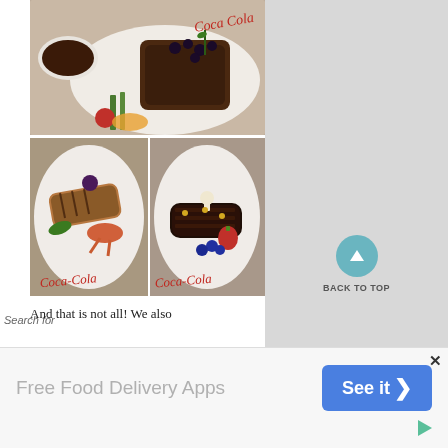[Figure (photo): Top food photo: gourmet steak dish on white plate with sauce bowl, asparagus, tomato, blackberries, and Coca-Cola script logo]
[Figure (photo): Bottom-left food photo: grilled fish with seafood and vegetables on white plate with Coca-Cola script logo]
[Figure (photo): Bottom-right food photo: chocolate dessert log with strawberries and blueberries on white plate with Coca-Cola script logo]
And that is not all! We also
Search for
[Figure (other): Back to top button: teal circle with up arrow and text BACK TO TOP]
[Figure (infographic): Advertisement banner: Free Food Delivery Apps with See it button and play icon]